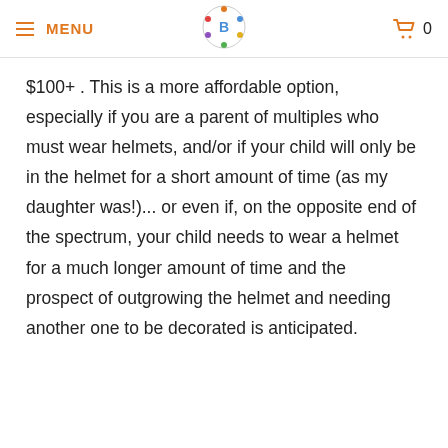MENU | [logo] | 0
most custom painted helmets can cost $100+ . This is a more affordable option, especially if you are a parent of multiples who must wear helmets, and/or if your child will only be in the helmet for a short amount of time (as my daughter was!)... or even if, on the opposite end of the spectrum, your child needs to wear a helmet for a much longer amount of time and the prospect of outgrowing the helmet and needing another one to be decorated is anticipated.